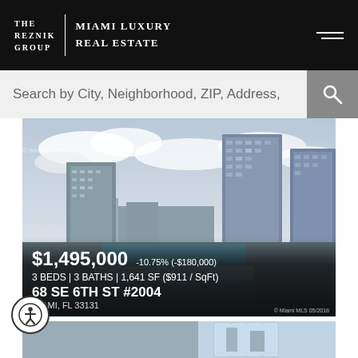THE REZNIK GROUP | MIAMI LUXURY REAL ESTATE
Search by City, Neighborhood, ZIP, Address,
[Figure (photo): Aerial cityscape photo of Miami showing tall glass skyscrapers, a river or bay, and partly cloudy sky]
$1,495,000  -10.75% (-$180,000)
3 BEDS | 3 BATHS | 1,641 SF ($911 / SqFt)
68 SE 6TH ST #2004
MIAMI, FL 33131
© Miami MLS 05/2018
[Figure (photo): Interior room preview strip at the bottom of the page]